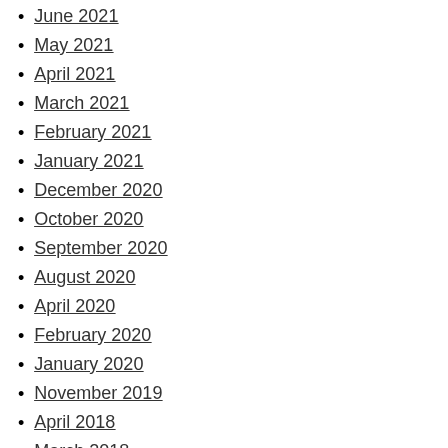June 2021
May 2021
April 2021
March 2021
February 2021
January 2021
December 2020
October 2020
September 2020
August 2020
April 2020
February 2020
January 2020
November 2019
April 2018
March 2018
February 2018
January 2018